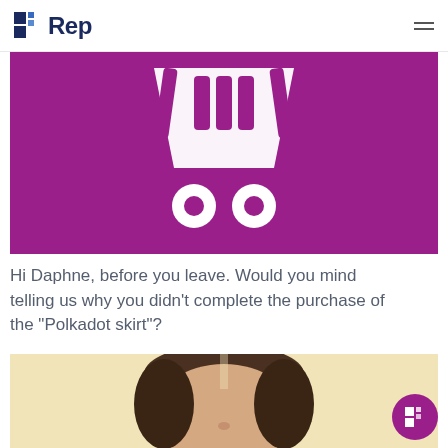Rep
[Figure (illustration): Purple background with a white shopping cart icon (basket shape with two wheels at the bottom)]
Hi Daphne, before you leave. Would you mind telling us why you didn't complete the purchase of the "Polkadot skirt"?
[Figure (photo): Close-up photo of a woman with brown hair against a light beige/yellow background, cropped at the top of the head area]